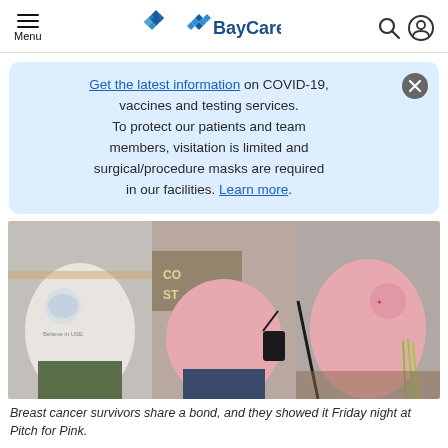Menu | BayCare
Get the latest information on COVID-19, vaccines and testing services. To protect our patients and team members, visitation is limited and surgical/procedure masks are required in our facilities. Learn more.
[Figure (photo): Three people wearing pink shirts at Pitch for Pink event, breast cancer awareness.]
Breast cancer survivors share a bond, and they showed it Friday night at Pitch for Pink.